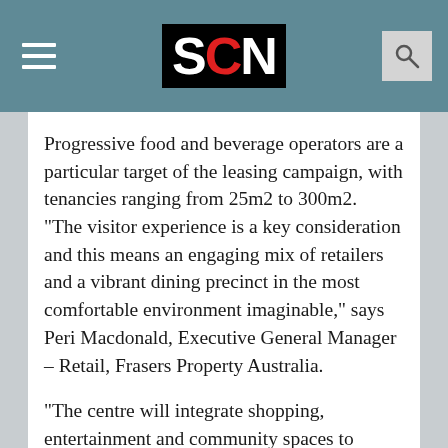SCN
Progressive food and beverage operators are a particular target of the leasing campaign, with tenancies ranging from 25m2 to 300m2. “The visitor experience is a key consideration and this means an engaging mix of retailers and a vibrant dining precinct in the most comfortable environment imaginable,” says Peri Macdonald, Executive General Manager – Retail, Frasers Property Australia.
“The centre will integrate shopping, entertainment and community spaces to create a memorable place for people to have memorable experiences. There is also scope for the centre to serve an educational purpose, and with a number of schools in close proximity, this is something we will explore,” he says.